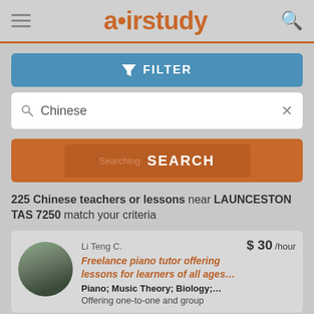airstudy
FILTER
Chinese
Searching SEARCH
225 Chinese teachers or lessons near LAUNCESTON TAS 7250 match your criteria
Li Teng C. $30/hour Freelance piano tutor offering lessons for learners of all ages… Piano; Music Theory; Biology;… Offering one-to-one and group